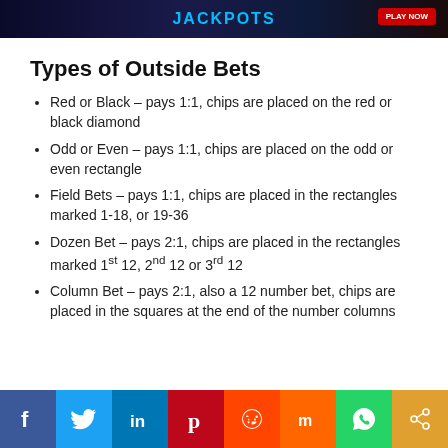[Figure (other): Dark themed banner with JACKPOTS text in blue neon style and a red button on the right]
Types of Outside Bets
Red or Black – pays 1:1, chips are placed on the red or black diamond
Odd or Even – pays 1:1, chips are placed on the odd or even rectangle
Field Bets – pays 1:1, chips are placed in the rectangles marked 1-18, or 19-36
Dozen Bet – pays 2:1, chips are placed in the rectangles marked 1st 12, 2nd 12 or 3rd 12
Column Bet – pays 2:1, also a 12 number bet, chips are placed in the squares at the end of the number columns
[Figure (other): Social media share bar with icons for Facebook, Twitter, LinkedIn, Pinterest, Reddit, Mix, WhatsApp, and Share]